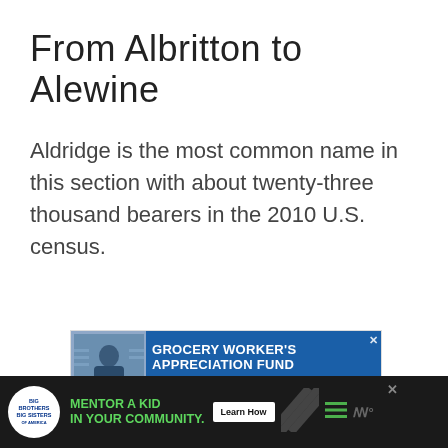From Albritton to Alewine
Aldridge is the most common name in this section with about twenty-three thousand bearers in the 2010 U.S. census.
[Figure (infographic): Advertisement banner for Grocery Worker's Appreciation Fund featuring a grocery worker photo, blue background with bold white text 'GROCERY WORKER'S APPRECIATION FUND', Kendall Jackson and United Way logos, and a close X button.]
[Figure (infographic): Bottom advertisement banner on black background for Big Brothers Big Sisters 'MENTOR A KID IN YOUR COMMUNITY.' with a Learn How button, diagonal stripes graphic, hamburger menu icon, and W degree symbol. Close X button at top right.]